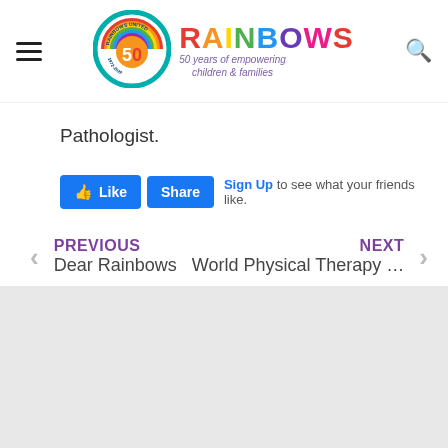[Figure (logo): Rainbows United 50th anniversary logo with circular badge showing '50' and years '1972-2022', plus colorful RAINBOWS wordmark and tagline '50 years of empowering children & families']
Pathologist.
[Figure (screenshot): Facebook Like and Share buttons with 'Sign Up to see what your friends like.' text]
PREVIOUS
Dear Rainbows
NEXT
World Physical Therapy ...